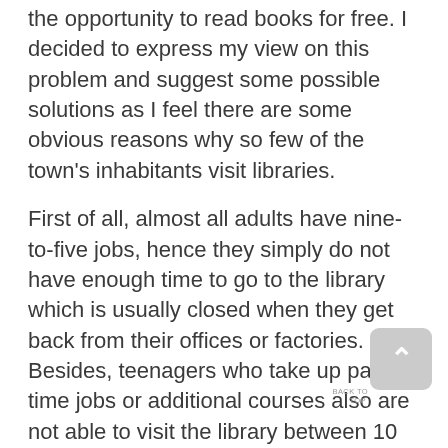the opportunity to read books for free. I decided to express my view on this problem and suggest some possible solutions as I feel there are some obvious reasons why so few of the town's inhabitants visit libraries.
First of all, almost all adults have nine-to-five jobs, hence they simply do not have enough time to go to the library which is usually closed when they get back from their offices or factories. Besides, teenagers who take up part-time jobs or additional courses also are not able to visit the library between 10 a.m. and 3 p.m.
Secondly, libraries in our area do not provide such a wide range of books as they claim. Very often they are not able to offer basic books from school's reading lists. Nor are they able to attract people fond of well-known, contemporary writers. Last week, for instance, I could not find any of Kurt Vonnegut's titles in